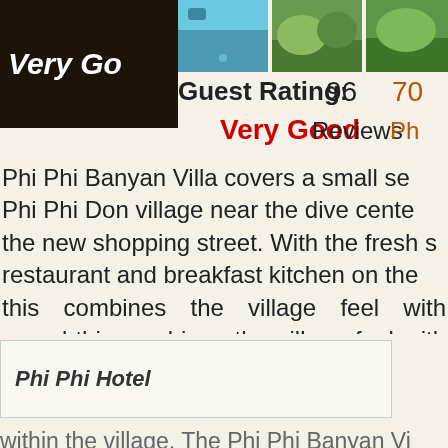[Figure (photo): Hotel rating badge showing 'Very Go[od]' on dark background with hotel pool photos]
Guest Rating: 96 Reviews 70[...]
Very Good Ph[...]
Phi Phi Banyan Villa covers a small se[ction of] Phi Phi Don village near the dive cente[r and] the new shopping street. With the fresh s[ea breeze,] restaurant and breakfast kitchen on the[ir roof,] this combines the village feel with superb[...]
Phi Phi Hotel
within the village. The Phi Phi Banyan Vi[lla...]
[Figure (photo): Second hotel rating badge showing 4/5 Very Go[od] with hotel room and landscape photos]
Guest Rating: 169 Reviews 18[...]
Very Good Ph[...]
Phi Phi Hotel is in the center point of[...]